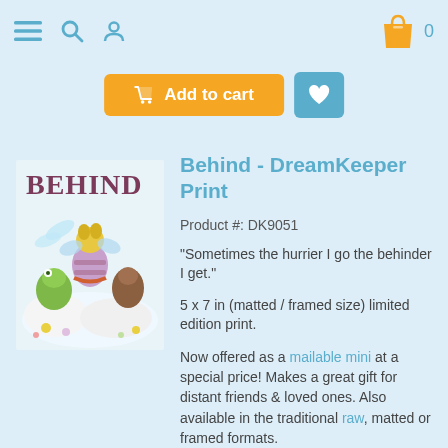Navigation bar with menu, search, user icons and shopping cart (0 items)
Add to cart (button) and wishlist (heart button)
[Figure (illustration): Book/print cover illustration titled BEHIND showing a whimsical scene with cartoon bee, frog, and fairy characters viewed from behind, sitting on clouds]
Behind - DreamKeeper Print
Product #: DK9051
"Sometimes the hurrier I go the behinder I get."
5 x 7 in (matted / framed size) limited edition print.
Now offered as a mailable mini at a special price! Makes a great gift for distant friends & loved ones. Also available in the traditional raw, matted or framed formats.
$ 4.99